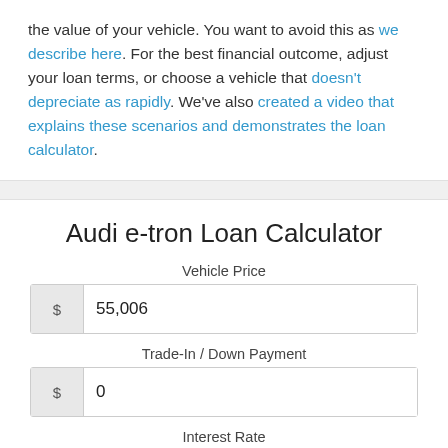the value of your vehicle. You want to avoid this as we describe here. For the best financial outcome, adjust your loan terms, or choose a vehicle that doesn't depreciate as rapidly. We've also created a video that explains these scenarios and demonstrates the loan calculator.
Audi e-tron Loan Calculator
Vehicle Price
$ 55,006
Trade-In / Down Payment
$ 0
Interest Rate
4.75 %